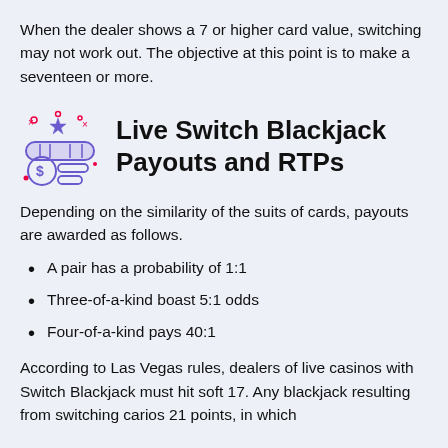When the dealer shows a 7 or higher card value, switching may not work out. The objective at this point is to make a seventeen or more.
Live Switch Blackjack Payouts and RTPs
Depending on the similarity of the suits of cards, payouts are awarded as follows.
A pair has a probability of 1:1
Three-of-a-kind boast 5:1 odds
Four-of-a-kind pays 40:1
According to Las Vegas rules, dealers of live casinos with Switch Blackjack must hit soft 17. Any blackjack resulting from switching carios 21 points, in which